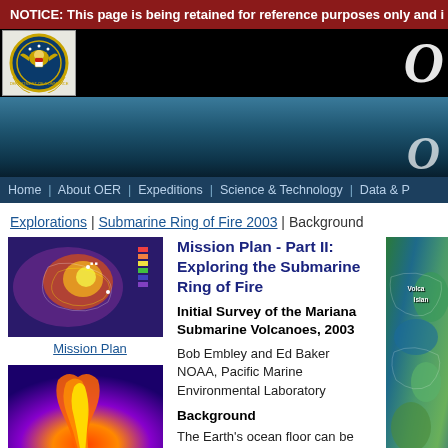NOTICE: This page is being retained for reference purposes only and i
[Figure (screenshot): NOAA Office of Ocean Exploration and Research logo/header with black background and large O letter]
[Figure (photo): Ocean underwater banner photo showing dark blue water surface]
Home | About OER | Expeditions | Science & Technology | Data & P
Explorations | Submarine Ring of Fire 2003 | Background
Mission Plan - Part II: Exploring the Submarine Ring of Fire
Initial Survey of the Mariana Submarine Volcanoes, 2003
Bob Embley and Ed Baker
NOAA, Pacific Marine Environmental Laboratory
Background
The Earth's ocean floor can be likened to a giant conveyor belt, with new crust continuously created at mid-ocean ridges and
[Figure (photo): Mission Plan thumbnail - colorful bathymetric map showing seafloor features]
Mission Plan
[Figure (photo): Hydroacoustics thumbnail - red/orange sonar image showing underwater plume]
Hydroacoustics
[Figure (photo): Seafloor Mapping thumbnail - brown terrain image of seafloor]
Seafloor Mapping
[Figure (map): Right side map showing Volcano Islands area with colorful bathymetric rendering, labels: Volca, Islan, Parece, Vela]